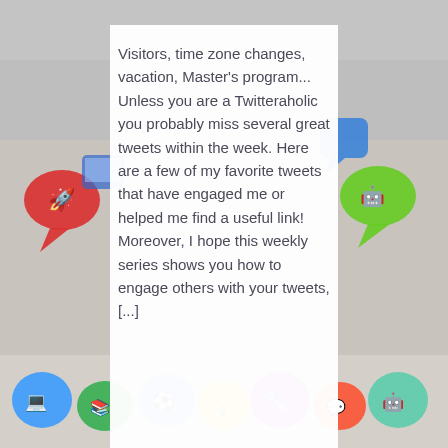[Figure (photo): Background collage with children, colorful speech bubbles with icons, and decorative educational graphics on a gray background. Children group visible on left and right sides. Colorful cartoon icons strip along the bottom.]
Visitors, time zone changes, vacation, Master’s program... Unless you are a Twitteraholic you probably miss several great tweets within the week. Here are a few of my favorite tweets that have engaged me or helped me find a useful link! Moreover, I hope this weekly series shows you how to engage others with your tweets, [...]
Continue Reading ..